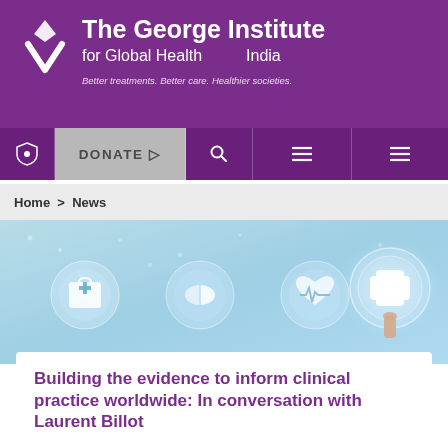The George Institute for Global Health — India
Better treatments. Better care. Healthier societies.
DONATE
Home > News
[Figure (illustration): Medical health icons on light blue background: first aid kit, capsule/pill, heart rate monitor, and a glowing plus/cross symbol being touched by a finger]
Building the evidence to inform clinical practice worldwide: In conversation with Laurent Billot